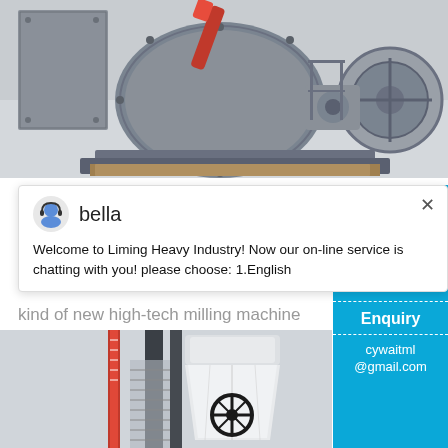[Figure (photo): Large grey industrial ball mill machine on wooden pallets in a warehouse, with red hydraulic arm visible on top]
[Figure (screenshot): Live chat popup from Liming Heavy Industry showing agent 'bella' with avatar icon and message about online service]
kind of new high-tech milling machine
[Figure (photo): White cone crusher or milling machine in an industrial warehouse with red measurement tape on wall]
[Figure (infographic): Blue sidebar with smiley face chat widget showing badge number 1 and Click me to chat button, Enquiry section, and cywaitml@gmail.com contact]
Enquiry
cywaitml
@gmail.com